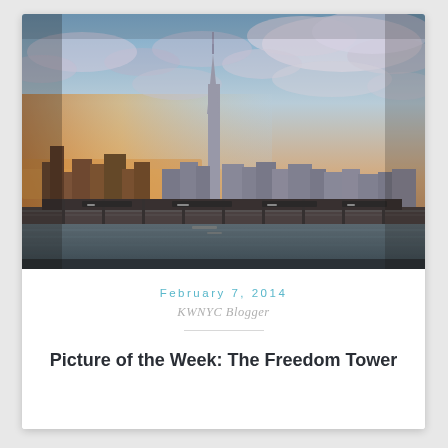[Figure (photo): Aerial/waterfront photograph of the New York City skyline featuring the Freedom Tower (One World Trade Center) prominently in the center, with dramatic cloudy sky at sunset/golden hour, waterfront and docks in the foreground]
February 7, 2014
KWNYC Blogger
Picture of the Week: The Freedom Tower